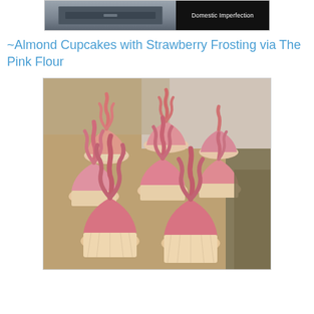[Figure (photo): Top partial image showing a dark dresser/furniture with a 'Domestic Imperfection' watermark on dark background]
~Almond Cupcakes with Strawberry Frosting via The Pink Flour
[Figure (photo): Photo of multiple cupcakes with pink strawberry frosting piped in swirls, arranged on a baking tray with white cupcake liners]